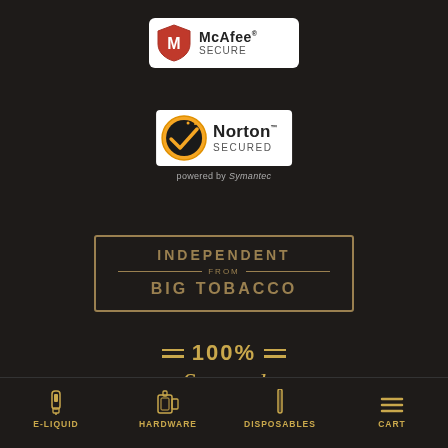[Figure (logo): McAfee SECURE badge with red/white shield logo and text 'McAfee SECURE']
[Figure (logo): Norton SECURED badge with yellow/black checkmark circle and text 'Norton SECURED powered by Symantec']
[Figure (logo): Stamp-style badge reading 'INDEPENDENT FROM BIG TOBACCO' in gold/bronze border]
= 100% = Secured
E-LIQUID
HARDWARE
DISPOSABLES
CART